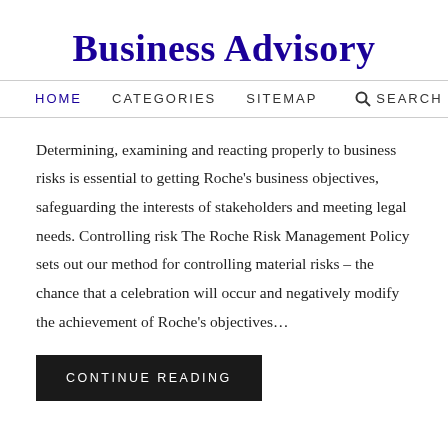Business Advisory
HOME   CATEGORIES   SITEMAP   SEARCH
Determining, examining and reacting properly to business risks is essential to getting Roche’s business objectives, safeguarding the interests of stakeholders and meeting legal needs. Controlling risk The Roche Risk Management Policy sets out our method for controlling material risks – the chance that a celebration will occur and negatively modify the achievement of Roche’s objectives…
CONTINUE READING